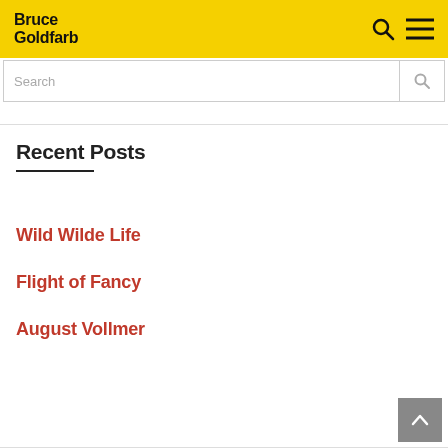Bruce Goldfarb
Recent Posts
Wild Wilde Life
Flight of Fancy
August Vollmer